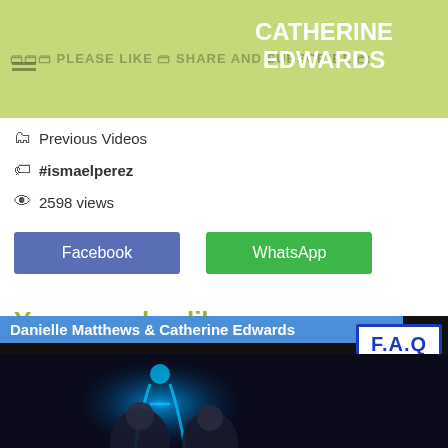CATHERINE EDWARDS
🗂 Previous Videos
🏷 #ismaelperez
👁 2598 views
Facebook  WhatsApp
You may also like
[Figure (screenshot): Video thumbnail showing 'Danielle Matthews & Catherine Edwards' title bar in blue, with F.A.Q badge and blue glowing figure on dark background]